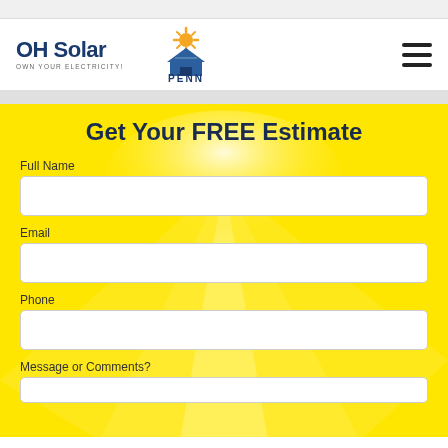[Figure (logo): OH Solar logo with tagline OWN YOUR ELECTRICITY! and Penn Solar logo with house/sun graphic]
Get Your FREE Estimate
Full Name
Email
Phone
Message or Comments?